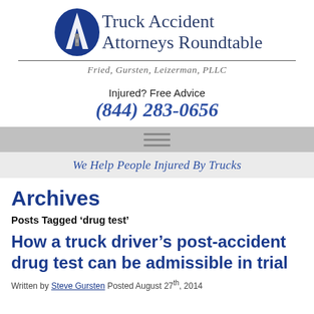[Figure (logo): Truck Accident Attorneys Roundtable logo with blue shield/road icon and firm name Fried, Gursten, Leizerman, PLLC]
Injured? Free Advice
(844) 283-0656
[Figure (other): Navigation hamburger menu icon (three horizontal lines) on a gray bar]
We Help People Injured By Trucks
Archives
Posts Tagged ‘drug test’
How a truck driver’s post-accident drug test can be admissible in trial
Written by Steve Gursten Posted August 27th, 2014